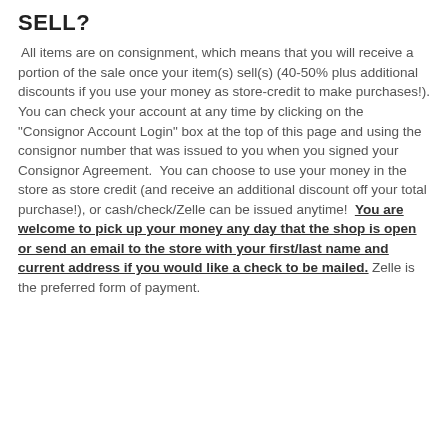SELL?
All items are on consignment, which means that you will receive a portion of the sale once your item(s) sell(s) (40-50% plus additional discounts if you use your money as store-credit to make purchases!). You can check your account at any time by clicking on the "Consignor Account Login" box at the top of this page and using the consignor number that was issued to you when you signed your Consignor Agreement. You can choose to use your money in the store as store credit (and receive an additional discount off your total purchase!), or cash/check/Zelle can be issued anytime! You are welcome to pick up your money any day that the shop is open or send an email to the store with your first/last name and current address if you would like a check to be mailed. Zelle is the preferred form of payment.